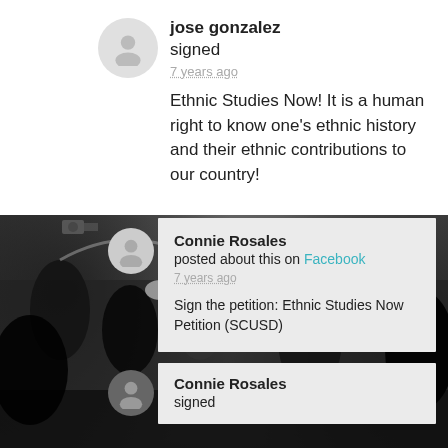[Figure (photo): Background photo of a crowd of people, rendered in grayscale/high contrast with dark and light areas]
jose gonzalez
signed
7 years ago
Ethnic Studies Now! It is a human right to know one's ethnic history and their ethnic contributions to our country!
Connie Rosales
posted about this on Facebook
7 years ago
Sign the petition: Ethnic Studies Now Petition (SCUSD)
Connie Rosales
signed